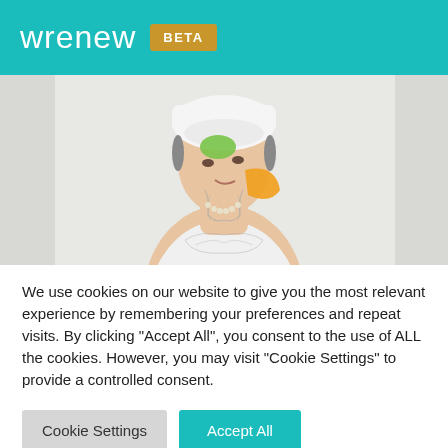wrenew BETA
[Figure (photo): Woman with tattoos on chest and neck, wearing white towel on head and colorful face patches (green on forehead, orange on cheek), looking to the side, light background]
We use cookies on our website to give you the most relevant experience by remembering your preferences and repeat visits. By clicking “Accept All”, you consent to the use of ALL the cookies. However, you may visit "Cookie Settings" to provide a controlled consent.
Cookie Settings | Accept All